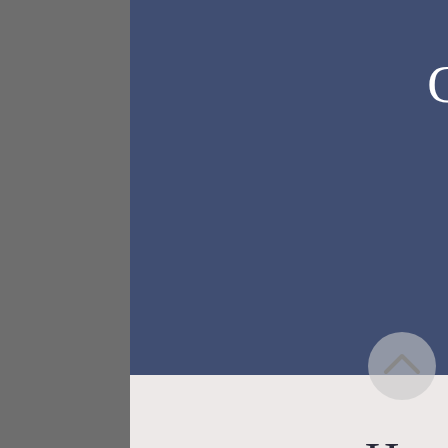Consultant
Planner
Human Resources Consultant
Communicator
Negotiator
Drafter/Writer